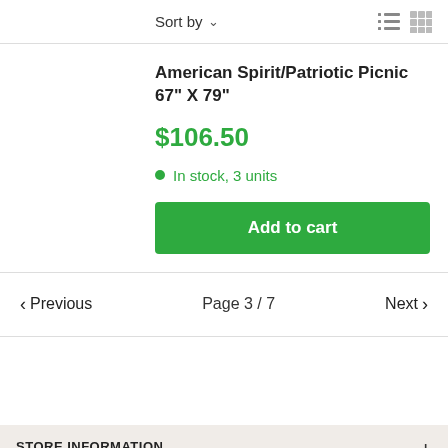Sort by ∨
American Spirit/Patriotic Picnic 67" X 79"
$106.50
In stock, 3 units
Add to cart
‹ Previous    Page 3 / 7    Next ›
STORE INFORMATION